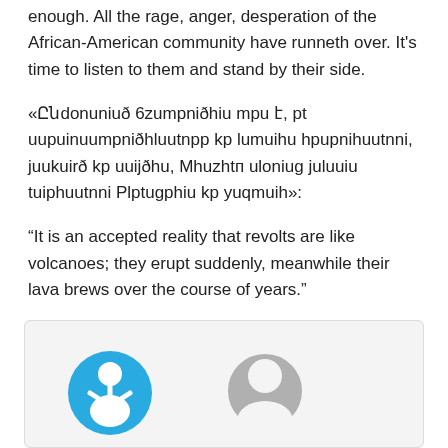enough. All the rage, anger, desperation of the African-American community have runneth over. It's time to listen to them and stand by their side.
«Ընdonuniuð 6zumpniðhiu mpu է, pt uupuinuumpniðhluutnpp kp lumuihu hpupnihuutnni, juukuirð kp uuijðhu, Mhuzhtп uloniug juluuiu tuiphuutnni Plptugphiu kp yuqmuih»:
“It is an accepted reality that revolts are like volcanoes; they erupt suddenly, meanwhile their lava brews over the course of years.”
[Figure (other): Comment box area with a blue accessibility icon button (person figure) and a grey avatar/profile icon placeholder]